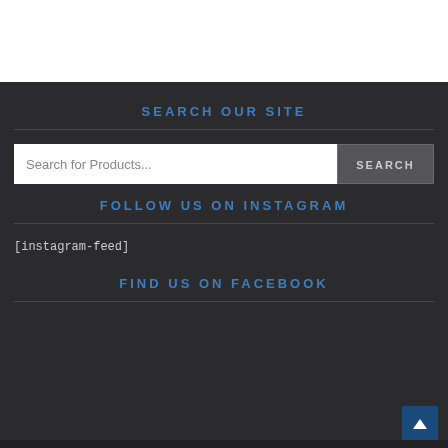SEARCH OUR SITE
[Figure (screenshot): Search input box with placeholder text 'Search for Products...' and a SEARCH button]
FOLLOW US ON INSTAGRAM
[instagram-feed]
FIND US ON FACEBOOK